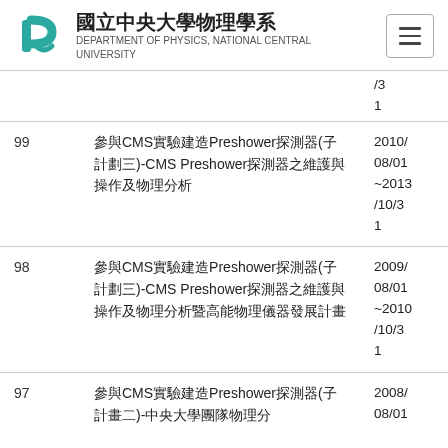國立中央大學物理學系 DEPARTMENT OF PHYSICS, NATIONAL CENTRAL UNIVERSITY
| # | 項目 | 日期 |
| --- | --- | --- |
|  |  | /
1 |
| 99 | 參與CMS實驗建造Preshower探測器(子計劃三)-CMS Preshower探測器之維護與操作及物理分析 | 2010/
08/01
~2013
/10/3
1 |
| 98 | 參與CMS實驗建造Preshower探測器(子計劃三)-CMS Preshower探測器之維護與操作及物理分析暨高能物理儀器發展計畫 | 2009/
08/01
~2010
/10/3
1 |
| 97 | 參與CMS實驗建造Preshower探測器(子計畫二)-中央大學團隊物理分... | 2008/
08/01 |